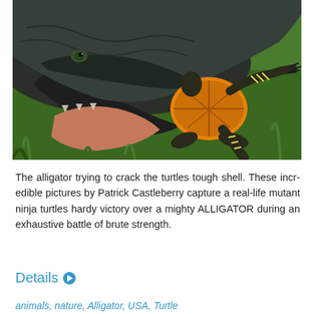[Figure (photo): Close-up photograph of an alligator with open jaws attempting to bite a turtle (with orange-yellow underside and striped legs) in green grass.]
The alligator trying to crack the turtles tough shell. These incr-edible pictures by Patrick Castleberry capture a real-life mutant ninja turtles hardy victory over a mighty ALLIGATOR during an exhaustive battle of brute strength.
Details ▶
animals, nature, Alligator, USA, Turtle